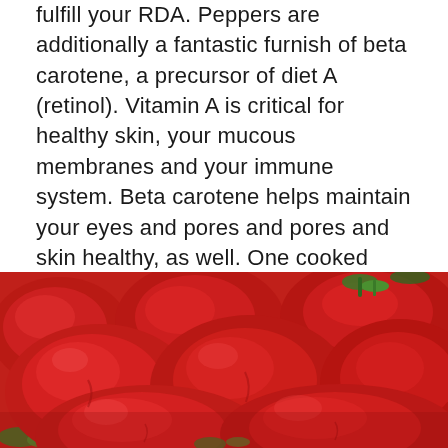fulfill your RDA. Peppers are additionally a fantastic furnish of beta carotene, a precursor of diet A (retinol). Vitamin A is critical for healthy skin, your mucous membranes and your immune system. Beta carotene helps maintain your eyes and pores and pores and skin healthy, as well. One cooked pepper has 19 percentage of your everyday encouraged extent of beta carotene.
[Figure (photo): Close-up photograph of a pile of red bell peppers with green stems, filling the frame.]